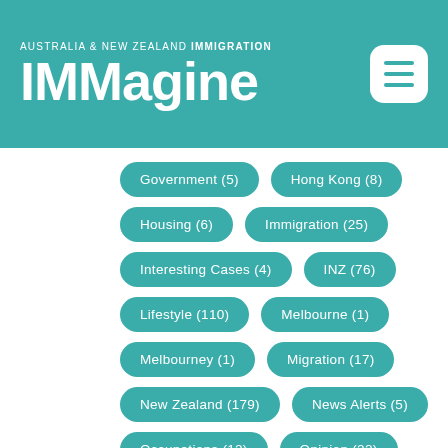[Figure (logo): IMMagine Australia & New Zealand Immigration magazine header logo with hamburger menu button on teal background]
Government (5)
Hong Kong (8)
Housing (6)
Immigration (25)
Interesting Cases (4)
INZ (76)
Lifestyle (110)
Melbourne (1)
Melbourney (1)
Migration (17)
New Zealand (179)
News Alerts (5)
Occupations (12)
Opinion (22)
Policy Updates (26)
Politics (38)